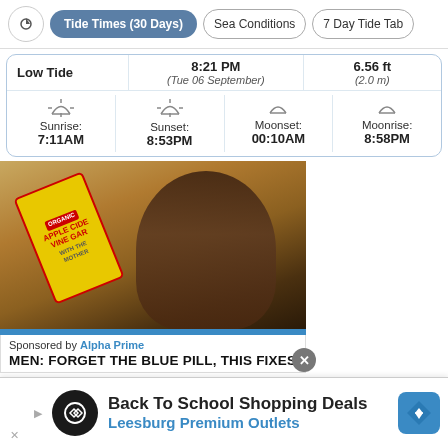Tide Times (30 Days) | Sea Conditions | 7 Day Tide Tab
|  | Time | Height |
| --- | --- | --- |
| Low Tide | 8:21 PM
(Tue 06 September) | 6.56 ft
(2.0 m) |
| Sunrise | Sunset | Moonset | Moonrise |
| --- | --- | --- | --- |
| 7:11AM | 8:53PM | 00:10AM | 8:58PM |
[Figure (photo): Man drinking from a bottle of apple cider vinegar]
Sponsored by Alpha Prime
MEN: FORGET THE BLUE PILL, THIS FIXES
Back To School Shopping Deals
Leesburg Premium Outlets